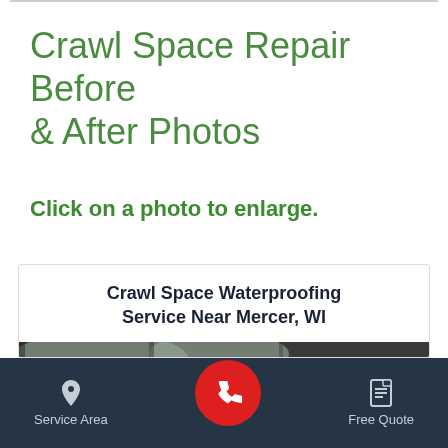Crawl Space Repair Before & After Photos
Click on a photo to enlarge.
Crawl Space Waterproofing Service Near Mercer, WI
[Figure (photo): Crawl space interior showing pipes, ductwork, red pipe, and plastic sheeting on ceiling/floor]
Service Area   [phone button]   Free Quote